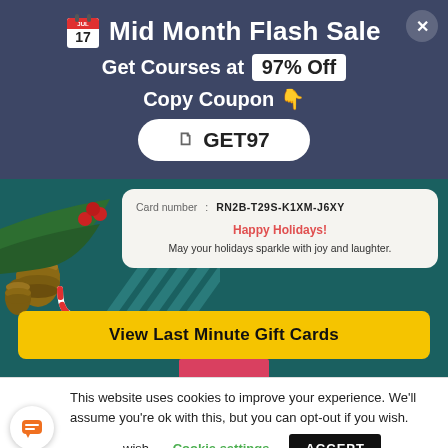Mid Month Flash Sale
Get Courses at 97% Off
Copy Coupon 👇
GET97
[Figure (screenshot): Holiday gift card showing pine cones, holly, candy canes on the left, and a gift card panel on the right with card number RN2B-T29S-K1XM-J6XY, 'Happy Holidays!' in red, and the message 'May your holidays sparkle with joy and laughter.']
View Last Minute Gift Cards
This website uses cookies to improve your experience. We'll assume you're ok with this, but you can opt-out if you wish.
Cookie settings
ACCEPT